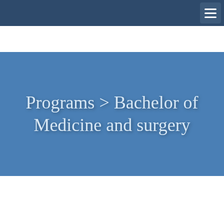≡
Programs > Bachelor of Medicine and surgery
[Figure (photo): A framed image showing what appears to be an old anatomical illustration on the left side and aged manuscript/document pages on the right side, set within a blue rounded-corner frame on a gray background.]